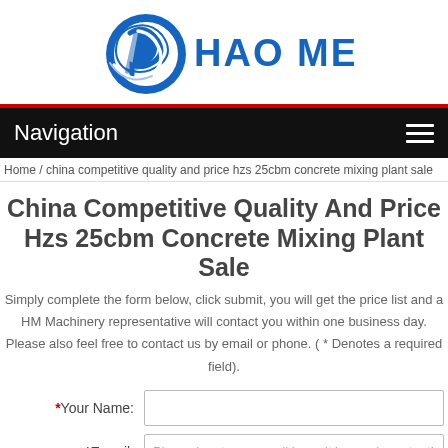[Figure (logo): HAO MEI company logo with blue circular icon and blue text]
Navigation
Home / china competitive quality and price hzs 25cbm concrete mixing plant sale
China Competitive Quality And Price Hzs 25cbm Concrete Mixing Plant Sale
Simply complete the form below, click submit, you will get the price list and a HM Machinery representative will contact you within one business day. Please also feel free to contact us by email or phone. ( * Denotes a required field).
*Your Name:
*E-mail: Please input your email here, it is very important!